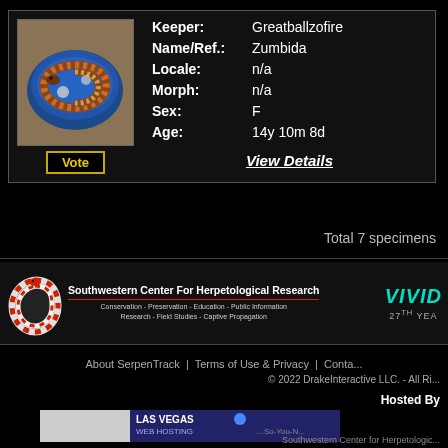[Figure (photo): Photo of a snake (possibly a ball python) coiled in a blue bowl/water dish, viewed from above]
Vote
Keeper:    Greatballzofire
Name/Ref.: Zumbida
Locale:    n/a
Morph:     n/a
Sex:       F
Age:       14y 10m 8d
View Details
Total 7 specimens
[Figure (logo): Southwestern Center For Herpetological Research banner with snake illustration. Text: Conservation - Preservation - Education - Public Information, Research - Field Studies - Captive Propagation]
[Figure (logo): VIVID logo in teal/orange italic text with '27th YEAR' below]
About SerpenTrack  |  Terms of Use & Privacy  |  Conta...
© 2022 DrakeInteractive LLC. - All Ri...
Hosted By
[Figure (logo): Las Vegas Web Hosting banner logo with text '...So-You-N...']
Southwestern Center for Herpetologic...